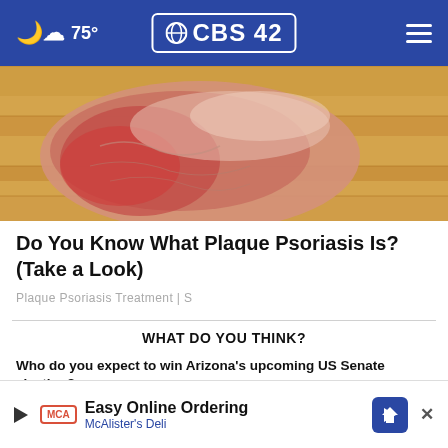75° CBS42
[Figure (photo): Close-up photo of a foot/heel with reddened skin suggesting psoriasis, on a wooden floor background]
Do You Know What Plaque Psoriasis Is? (Take a Look)
Plaque Psoriasis Treatment | S
WHAT DO YOU THINK?
Who do you expect to win Arizona's upcoming US Senate election?
[Figure (screenshot): McAlister's Deli ad banner: Easy Online Ordering, McAlister's Deli, with play icon, logo, and direction arrow]